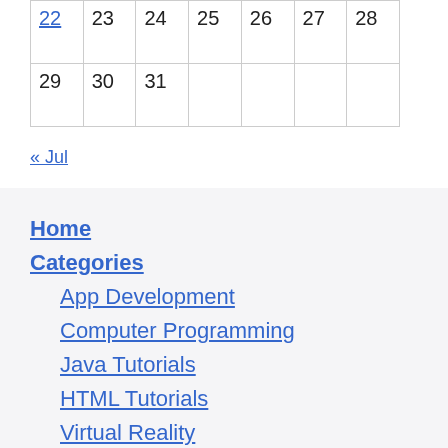| 22 | 23 | 24 | 25 | 26 | 27 | 28 |
| 29 | 30 | 31 |  |  |  |  |
« Jul
Home
Categories
App Development
Computer Programming
Java Tutorials
HTML Tutorials
Virtual Reality